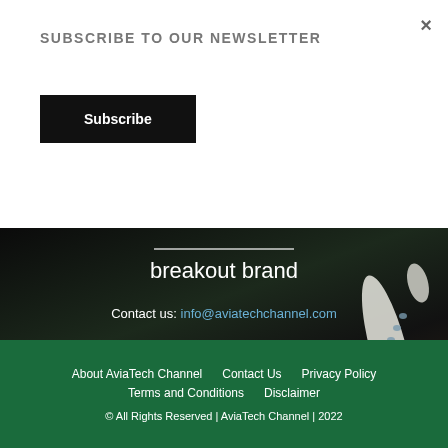SUBSCRIBE TO OUR NEWSLETTER
Subscribe
×
breakout brand
Contact us: info@aviatechchannel.com
FOLLOW US
[Figure (infographic): Social media icon buttons for Facebook, Instagram, Twitter, and YouTube in dark square boxes]
About AviaTech Channel   Contact Us   Privacy Policy   Terms and Conditions   Disclaimer   © All Rights Reserved | AviaTech Channel | 2022